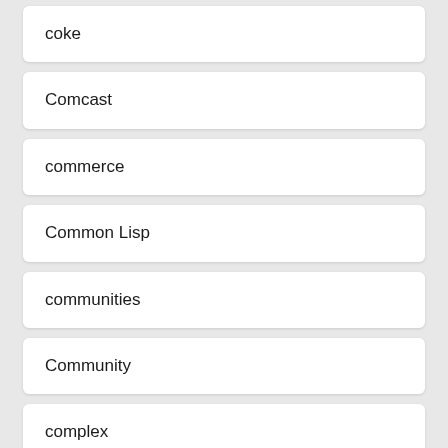coke
Comcast
commerce
Common Lisp
communities
Community
complex
Computers